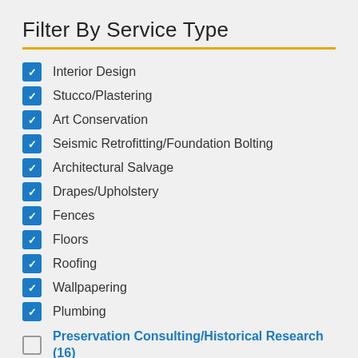Filter By Service Type
Interior Design
Stucco/Plastering
Art Conservation
Seismic Retrofitting/Foundation Bolting
Architectural Salvage
Drapes/Upholstery
Fences
Floors
Roofing
Wallpapering
Plumbing
Preservation Consulting/Historical Research (16)
Architectural Conservation (15)